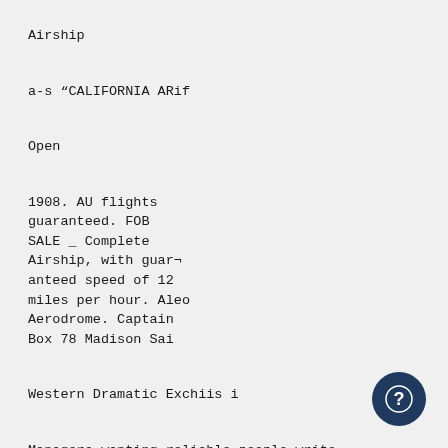Airship
a-s “CALIFORNIA ARif
Open
1908. AU flights guaranteed. FOB SALE _ Complete Airship, with guaranteed speed of 12 miles per hour. Aleo Aerodrome. Captain Box 78 Madison Sai
Western Dramatic Exchiis i
Managers wanting reliable people write 107 to Oallo Ctrooot Motinoon Ohin At